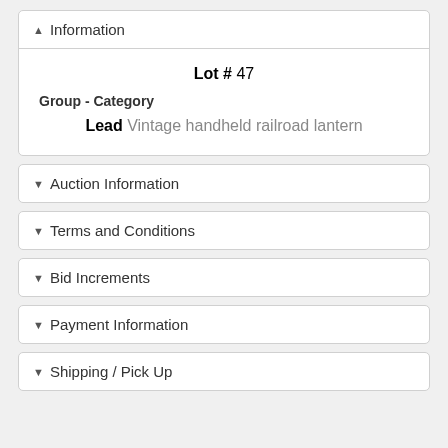Information
Lot # 47
Group - Category
Lead Vintage handheld railroad lantern
Auction Information
Terms and Conditions
Bid Increments
Payment Information
Shipping / Pick Up